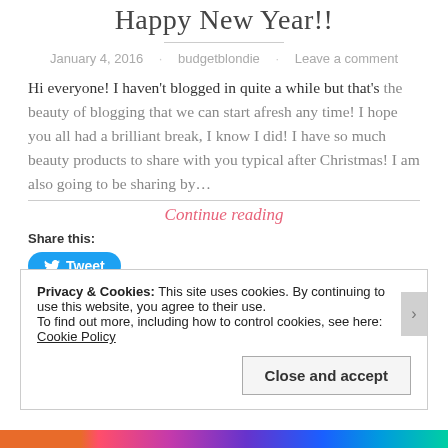Happy New Year!!
January 4, 2016 · budgetblondie · Leave a comment
Hi everyone! I haven't blogged in quite a while but that's the beauty of blogging that we can start afresh any time! I hope you all had a brilliant break, I know I did! I have so much beauty products to share with you typical after Christmas! I am also going to be sharing by…
Continue reading
Share this:
Tweet
Privacy & Cookies: This site uses cookies. By continuing to use this website, you agree to their use.
To find out more, including how to control cookies, see here: Cookie Policy
Close and accept